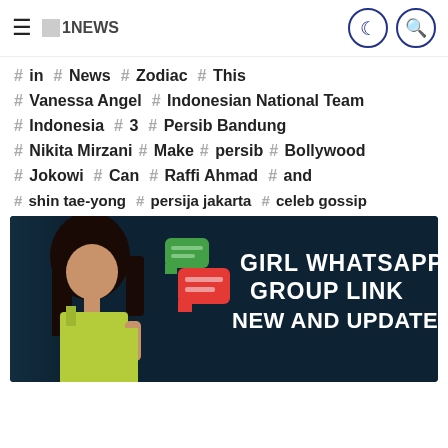1NEWS
# in  # News  # Zodiac  # This
# Vanessa Angel  # Indonesian National Team
# Indonesia  # 3  # Persib Bandung
# Nikita Mirzani  # Make  # persib  # Bollywood
# Jokowi  # Can  # Raffi Ahmad  # and
# shin tae-yong  # persija jakarta  # celeb gossip
[Figure (photo): Banner image with a young woman in yellow top against dark teal background, with WhatsApp-style chat bubbles and text: GIRL WHATSAPP GROUP LINK NEW AND UPDATED]